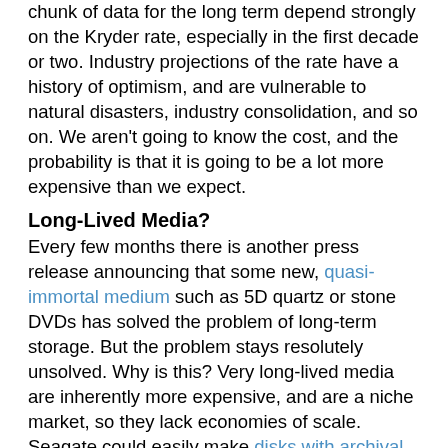chunk of data for the long term depend strongly on the Kryder rate, especially in the first decade or two. Industry projections of the rate have a history of optimism, and are vulnerable to natural disasters, industry consolidation, and so on. We aren't going to know the cost, and the probability is that it is going to be a lot more expensive than we expect.
Long-Lived Media?
Every few months there is another press release announcing that some new, quasi-immortal medium such as 5D quartz or stone DVDs has solved the problem of long-term storage. But the problem stays resolutely unsolved. Why is this? Very long-lived media are inherently more expensive, and are a niche market, so they lack economies of scale. Seagate could easily make disks with archival life, but they did a study of the market for them, and discovered that no-one would pay the relatively small additional cost.  The drives currently marketed for "archival" use have a shorter warranty and a shorter MTBF than the enterprise drives, so they're not expected to have long service lives.
The fundamental problem is that long-lived media only make sense at very low Kryder rates. Even if the rate is only